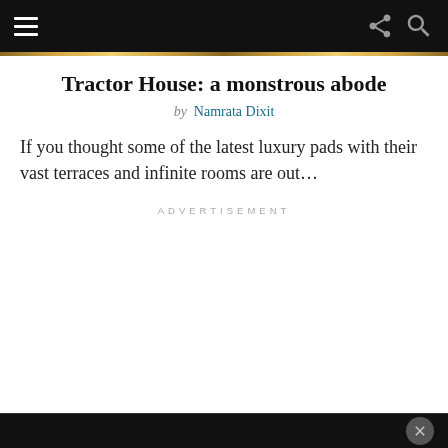Navigation bar with hamburger menu, share icon, and search icon
Tractor House: a monstrous abode
by Namrata Dixit
If you thought some of the latest luxury pads with their vast terraces and infinite rooms are out…
ADVERTISEMENT
Close button (×)